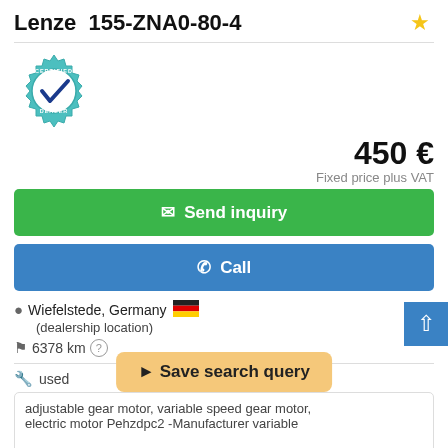Lenze 155-ZNA0-80-4
[Figure (logo): Certified Dealer badge — a teal gear icon with a blue checkmark and text 'CERTIFIED DEALER']
450 €
Fixed price plus VAT
Send inquiry
Call
Wiefelstede, Germany
(dealership location)
6378 km
used
Save search query
adjustable gear motor, variable speed gear motor, electric motor Pehzdpc2 -Manufacturer variable